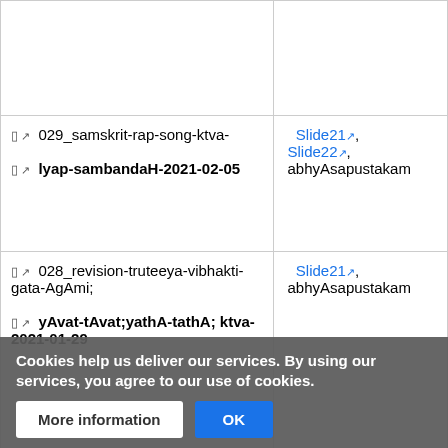| Resource | Materials |
| --- | --- |
| [icon] 029_samskrit-rap-song-ktva- [icon] lyap-sambandaH-2021-02-05 | Slide21, Slide22, abhyAsapustakam |
| [icon] 028_revision-truteeya-vibhakti-gata-AgAmi; [icon] yAvat-tAvat;yathA-tathA; ktva-2021-01-29 | Slide21, abhyAsapustakam |
| [icon] [partial] yadi-tami [icon] truteeya-v... 2021-01-22 | Slide20, abhyAsapustakam |
Cookies help us deliver our services. By using our services, you agree to our use of cookies.